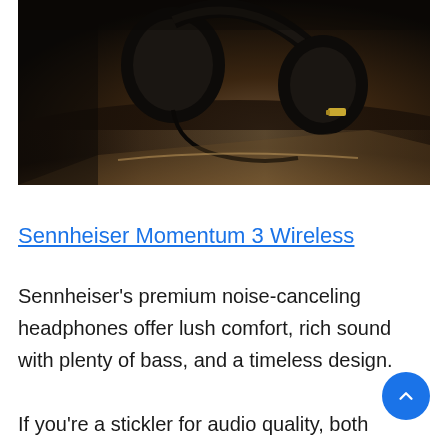[Figure (photo): Dark silhouette photograph of Sennheiser headphones resting on a reflective surface against a dark brown/moody background]
Sennheiser Momentum 3 Wireless
Sennheiser's premium noise-canceling headphones offer lush comfort, rich sound with plenty of bass, and a timeless design.
If you're a stickler for audio quality, both